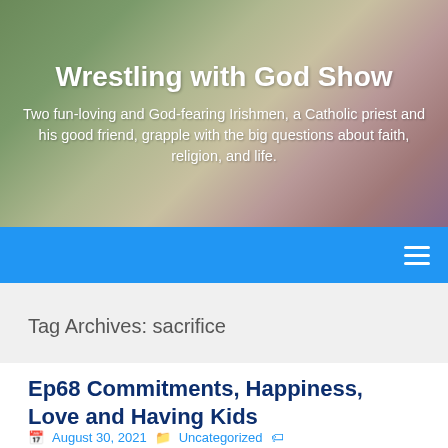Wrestling with God Show
Two fun-loving and God-fearing Irishmen, a Catholic priest and his good friend, grapple with the big questions about faith, religion, and life.
Tag Archives: sacrifice
Ep68 Commitments, Happiness, Love and Having Kids
August 30, 2021   Uncategorized